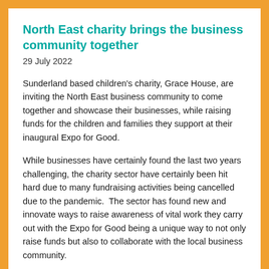North East charity brings the business community together
29 July 2022
Sunderland based children's charity, Grace House, are inviting the North East business community to come together and showcase their businesses, while raising funds for the children and families they support at their inaugural Expo for Good.
While businesses have certainly found the last two years challenging, the charity sector have certainly been hit hard due to many fundraising activities being cancelled due to the pandemic.  The sector has found new and innovate ways to raise awareness of vital work they carry out with the Expo for Good being a unique way to not only raise funds but also to collaborate with the local business community.